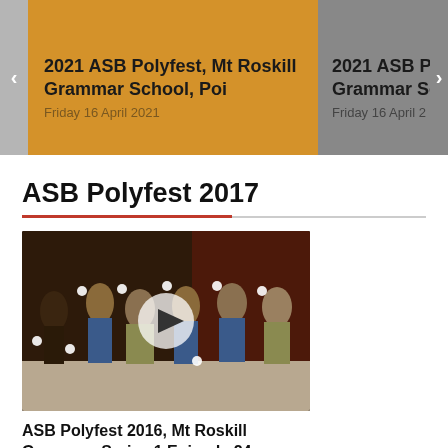[Figure (screenshot): Carousel showing '2021 ASB Polyfest, Mt Roskill Grammar School, Poi' on an orange card, and a partially visible gray card '2021 ASB Polyfest, Mt Roskill Grammar School' on the right. Left arrow visible on left edge, right arrow on right edge. Date shown: Friday 16 April 2021.]
ASB Polyfest 2017
[Figure (screenshot): Video thumbnail showing performers in traditional Māori costume performing with poi on a stage. A play button overlay is visible in the center.]
ASB Polyfest 2016, Mt Roskill Grammar, Series 1 Episode 24
Thursday 10 November 2016